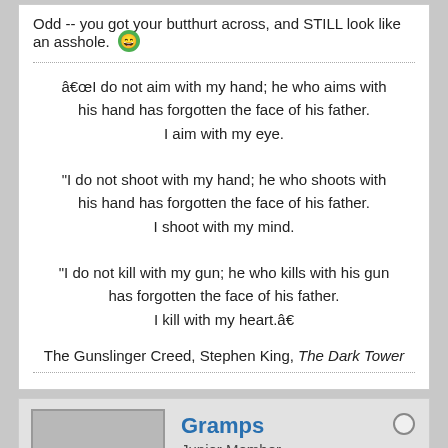Odd -- you got your butthurt across, and STILL look like an asshole. 😄
"I do not aim with my hand; he who aims with his hand has forgotten the face of his father. I aim with my eye.

"I do not shoot with my hand; he who shoots with his hand has forgotten the face of his father. I shoot with my mind.

"I do not kill with my gun; he who kills with his gun has forgotten the face of his father. I kill with my heart."
The Gunslinger Creed, Stephen King, The Dark Tower
Gramps
Junior Member
Join Date: Friday, October 4, 2013   Posts: 3456
Friday, November 15, 2013, 7:08 PM
#11